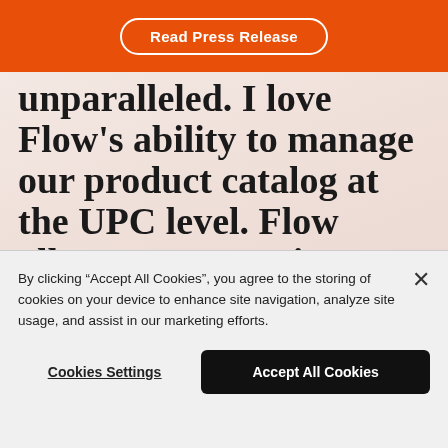Read Press Release
unparalleled. I love Flow's ability to manage our product catalog at the UPC level. Flow allows us to restrict products and align our global pricing strategy with our wholesalers.
Travis Heard
By clicking “Accept All Cookies”, you agree to the storing of cookies on your device to enhance site navigation, analyze site usage, and assist in our marketing efforts.
Cookies Settings
Accept All Cookies